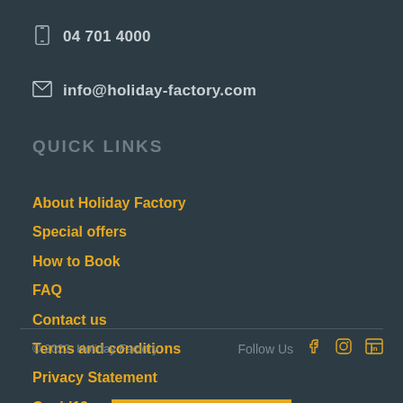04 701 4000
info@holiday-factory.com
QUICK LINKS
About Holiday Factory
Special offers
How to Book
FAQ
Contact us
Terms and conditions
Privacy Statement
Covid19
© 2022. Holiday Factory   Follow Us
Follow Us